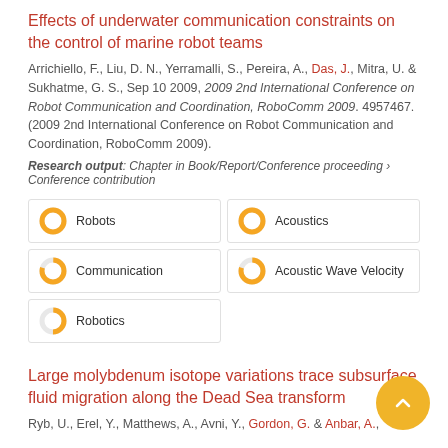Effects of underwater communication constraints on the control of marine robot teams
Arrichiello, F., Liu, D. N., Yerramalli, S., Pereira, A., Das, J., Mitra, U. & Sukhatme, G. S., Sep 10 2009, 2009 2nd International Conference on Robot Communication and Coordination, RoboComm 2009. 4957467. (2009 2nd International Conference on Robot Communication and Coordination, RoboComm 2009).
Research output: Chapter in Book/Report/Conference proceeding › Conference contribution
Robots
Acoustics
Communication
Acoustic Wave Velocity
Robotics
Large molybdenum isotope variations trace subsurface fluid migration along the Dead Sea transform
Ryb, U., Erel, Y., Matthews, A., Avni, Y., Gordon, G. & Anbar, A.,